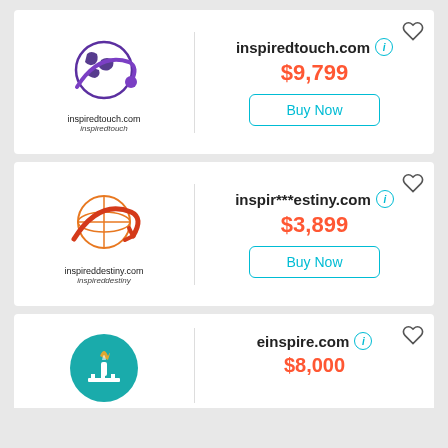[Figure (logo): inspiredtouch.com logo with globe and swoosh in purple]
inspiredtouch.com
$9,799
Buy Now
[Figure (logo): inspireddestiny.com logo with globe and swoosh in orange/red]
inspir***estiny.com
$3,899
Buy Now
[Figure (logo): einspire.com logo with torch on teal circle]
einspire.com
$8,000